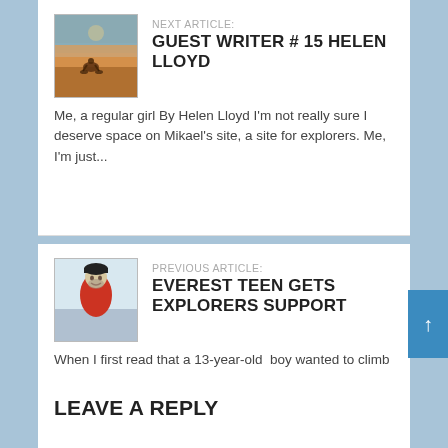NEXT ARTICLE:
GUEST WRITER # 15 HELEN LLOYD
[Figure (photo): Thumbnail photo of desert landscape with motorcycle rider on red sandy terrain]
Me, a regular girl By Helen Lloyd I'm not really sure I deserve space on Mikael's site, a site for explorers. Me, I'm just...
PREVIOUS ARTICLE:
EVEREST TEEN GETS EXPLORERS SUPPORT
[Figure (photo): Thumbnail photo of a person wearing a red jacket and black hat in a snowy/cold environment]
When I first read that a 13-year-old boy wanted to climb Everest, I reacted negatively. I thought this has got to be a joke, he...
LEAVE A REPLY